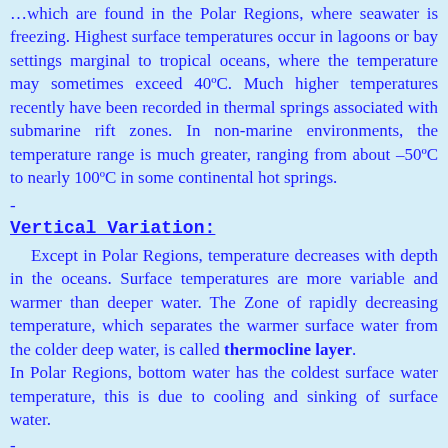…which are found in the Polar Regions, where seawater is freezing. Highest surface temperatures occur in lagoons or bay settings marginal to tropical oceans, where the temperature may sometimes exceed 40ºC. Much higher temperatures recently have been recorded in thermal springs associated with submarine rift zones. In non-marine environments, the temperature range is much greater, ranging from about –50ºC to nearly 100ºC in some continental hot springs.
Vertical Variation:
Except in Polar Regions, temperature decreases with depth in the oceans. Surface temperatures are more variable and warmer than deeper water. The Zone of rapidly decreasing temperature, which separates the warmer surface water from the colder deep water, is called thermocline layer. In Polar Regions, bottom water has the coldest surface water temperature, this is due to cooling and sinking of surface water.